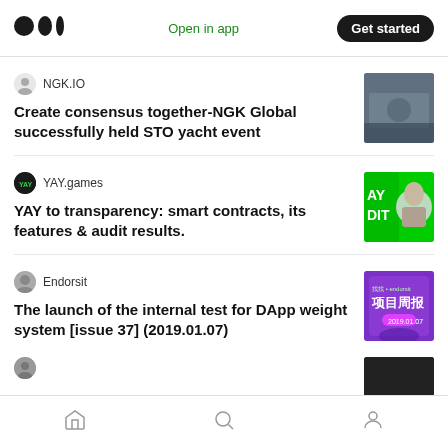Medium app header with logo, Open in app, Get started
NGK.IO
Create consensus together-NGK Global successfully held STO yacht event
YAY.games
YAY to transparency: smart contracts, its features & audit results.
Endorsit
The launch of the internal test for DApp weight system [issue 37] (2019.01.07)
Bottom navigation: Home, Search, Profile